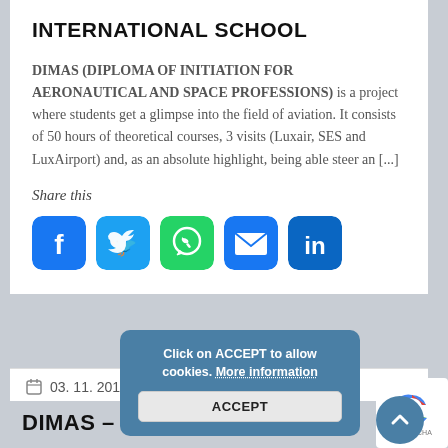INTERNATIONAL SCHOOL
DIMAS (DIPLOMA OF INITIATION FOR AERONAUTICAL AND SPACE PROFESSIONS) is a project where students get a glimpse into the field of aviation. It consists of 50 hours of theoretical courses, 3 visits (Luxair, SES and LuxAirport) and, as an absolute highlight, being able steer an [...]
Share this
[Figure (infographic): Social media sharing icons: Facebook (blue), Twitter (light blue), WhatsApp (green), Email (blue envelope), LinkedIn (dark blue)]
Click on ACCEPT to allow cookies. More information
ACCEPT
03. 11. 2018
DIMAS – DIPLÔME